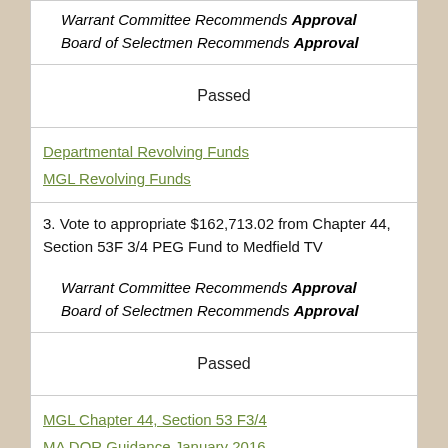Warrant Committee Recommends Approval
Board of Selectmen Recommends Approval
Passed
Departmental Revolving Funds
MGL Revolving Funds
3. Vote to appropriate $162,713.02 from Chapter 44, Section 53F 3/4 PEG Fund to Medfield TV

Warrant Committee Recommends Approval
Board of Selectmen Recommends Approval
Passed
MGL Chapter 44, Section 53 F3/4
MA DOR Guidance January 2016
4. Fix Salaries and Compensation for Elected Officers

Warrant Committee Recommends Approval